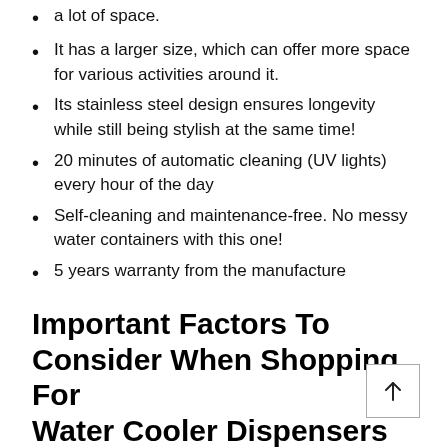a lot of space.
It has a larger size, which can offer more space for various activities around it.
Its stainless steel design ensures longevity while still being stylish at the same time!
20 minutes of automatic cleaning (UV lights) every hour of the day
Self-cleaning and maintenance-free. No messy water containers with this one!
5 years warranty from the manufacture
Important Factors To Consider When Shopping For Water Cooler Dispensers